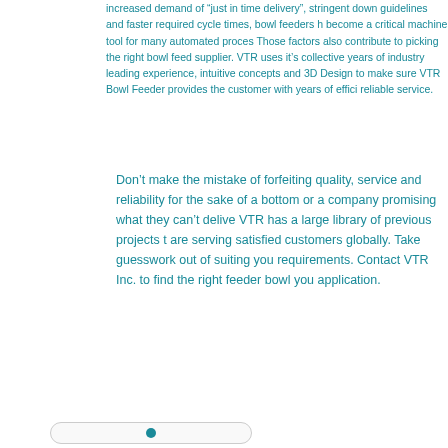increased demand of "just in time delivery", stringent down guidelines and faster required cycle times, bowl feeders have become a critical machine tool for many automated processes. Those factors also contribute to picking the right bowl feeder supplier. VTR uses it's collective years of industry leading experience, intuitive concepts and 3D Design to make sure the VTR Bowl Feeder provides the customer with years of efficient reliable service.
Don't make the mistake of forfeiting quality, service and reliability for the sake of a bottom line, or a company promising what they can't deliver. VTR has a large library of previous projects that are serving satisfied customers globally. Take the guesswork out of suiting you requirements. Contact VTR Inc. to find the right feeder bowl for you application.